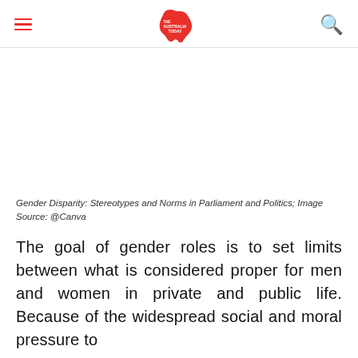The Australia Today
[Figure (photo): Blank/white image area representing a photo about Gender Disparity: Stereotypes and Norms in Parliament and Politics]
Gender Disparity: Stereotypes and Norms in Parliament and Politics; Image Source: @Canva
The goal of gender roles is to set limits between what is considered proper for men and women in private and public life. Because of the widespread social and moral pressure to